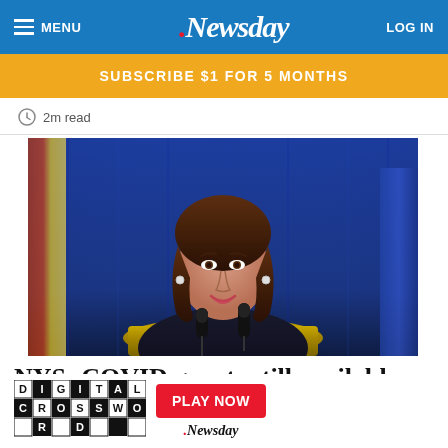MENU | Newsday | LOG IN
SUBSCRIBE $1 FOR 5 MONTHS
2m read
[Figure (photo): Woman speaking at a podium with microphones in front of a blue curtain background]
NYS: COVID grants still available fo
[Figure (infographic): Digital Crossword advertisement overlay with PLAY NOW button and Newsday logo]